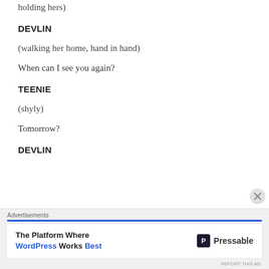holding hers)
DEVLIN
(walking her home, hand in hand)
When can I see you again?
TEENIE
(shyly)
Tomorrow?
DEVLIN
[Figure (other): Advertisement banner: 'The Platform Where WordPress Works Best' — Pressable. With a close/X button overlay.]